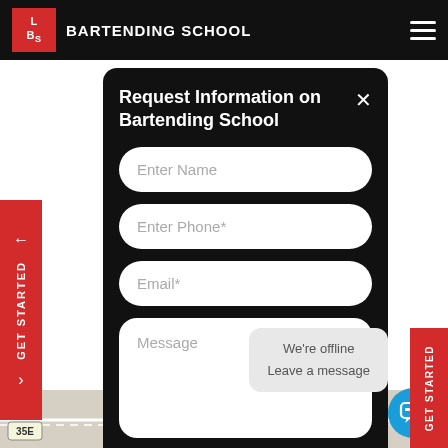LBS BARTENDING SCHOOL
Request Information on Bartending School
Enter Name
Enter Phone*
Email*
Message
ding Program
nner to
ed.
ending
GET STARTED
We're offline
Leave a message
[Figure (screenshot): Map showing street view at bottom of page with route 35E and 121 visible]
GET STARTED